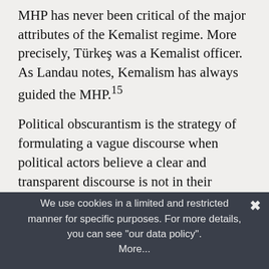MHP has never been critical of the major attributes of the Kemalist regime. More precisely, Türkeş was a Kemalist officer. As Landau notes, Kemalism has always guided the MHP.15
Political obscurantism is the strategy of formulating a vague discourse when political actors believe a clear and transparent discourse is not in their interest. Actors may employ this strategy either to minimize a risk or maximize an interest. Political obscurantism can be observed in many societies, but it is more prevalent in authoritarian ones.16 Political obscurantism has been an important strategy of Turkish politics, so the MHP is not
We use cookies in a limited and restricted manner for specific purposes. For more details, you can see "our data policy". More...